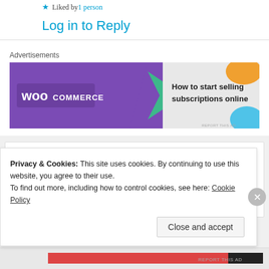★ Liked by 1 person
Log in to Reply
Advertisements
[Figure (illustration): WooCommerce advertisement banner: purple background on left with WooCommerce logo and green arrow shape, right side shows decorative shapes and text 'How to start selling subscriptions online']
GraceoftheSun
5th Jul 2021 at 6:59 pm
Silence can oftentimes scream louder than words.
Privacy & Cookies: This site uses cookies. By continuing to use this website, you agree to their use.
To find out more, including how to control cookies, see here: Cookie Policy
Close and accept